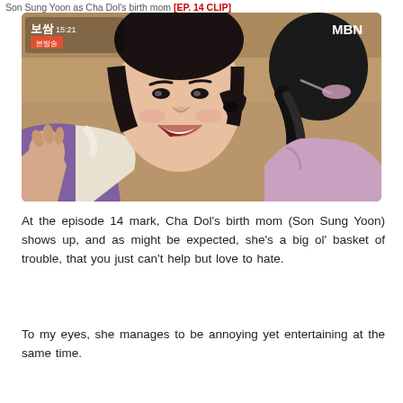Son Sung Yoon as Cha Dol's birth mom [EP. 14 CLIP]
[Figure (photo): Screenshot from MBN Korean drama '보쌈' (Bossam) episode 14, showing a smiling young woman in a purple and white hanbok (traditional Korean dress) facing another woman seen from behind, also wearing a hanbok. The MBN logo appears in the top right and the show title/episode info appears in the top left.]
At the episode 14 mark, Cha Dol's birth mom (Son Sung Yoon) shows up, and as might be expected, she's a big ol' basket of trouble, that you just can't help but love to hate.
To my eyes, she manages to be annoying yet entertaining at the same time.